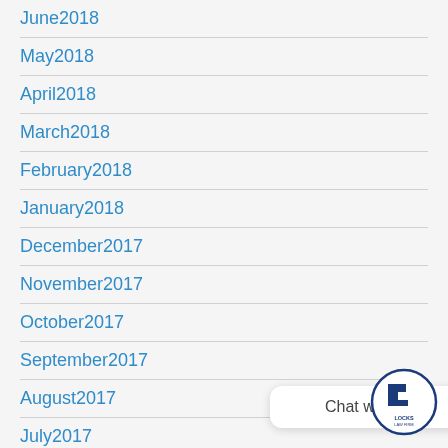June2018
May2018
April2018
March2018
February2018
January2018
December2017
November2017
October2017
September2017
August2017
July2017
June2017
May2017
[Figure (logo): Locks Law Firm logo — blue square L shape in a circle with text LOCKS LAW FIRM]
Chat with us